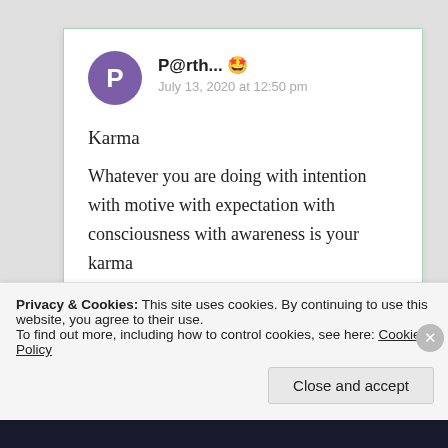P@rth... 🤩
July 13, 2020 at 12:50 pm
Karma

Whatever you are doing with intention with motive with expectation with consciousness with awareness is your karma
Privacy & Cookies: This site uses cookies. By continuing to use this website, you agree to their use.
To find out more, including how to control cookies, see here: Cookie Policy
Close and accept